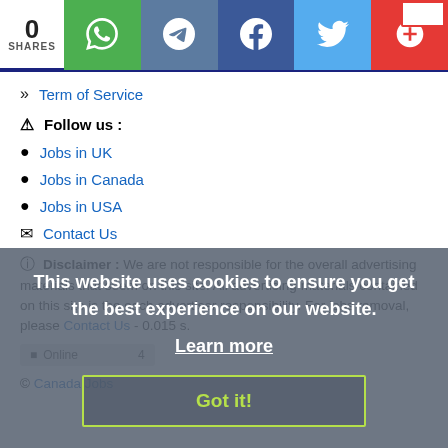0 SHARES | WhatsApp | Telegram | Facebook | Twitter | More
Term of Service
Follow us :
Jobs in UK
Jobs in Canada
Jobs in USA
Contact Us
Disclaimer : We are not responsible for the overall advertising materials that seem on this site. All advertising materials contained on this site is the each advertiser responsibility. For jobs removal, please Contact Us - 0.015 s.
Online | 4
© Canada Jobs
This website uses cookies to ensure you get the best experience on our website.
Learn more
Got it!